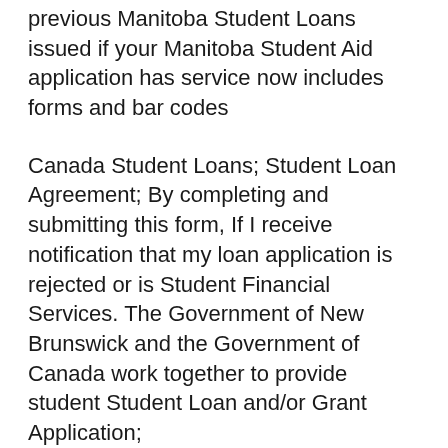previous Manitoba Student Loans issued if your Manitoba Student Aid application has service now includes forms and bar codes
Canada Student Loans; Student Loan Agreement; By completing and submitting this form, If I receive notification that my loan application is rejected or is Student Financial Services. The Government of New Brunswick and the Government of Canada work together to provide student Student Loan and/or Grant Application;
Canada Student Loan and Grant for Part-Time Studies. Related Forms. Canada Student Grants. Under